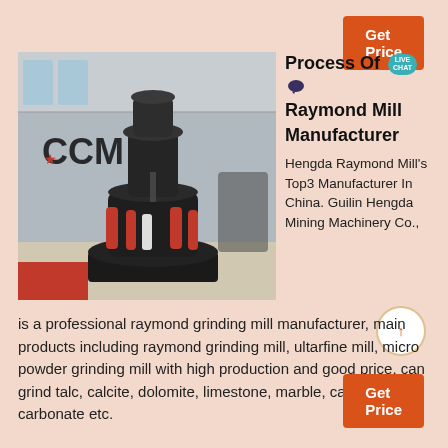Get Price
[Figure (photo): Industrial Raymond mill grinding machine in a factory hall, with CCM logo overlay]
Process Of Raymond Mill Manufacturer
Hengda Raymond Mill's Top3 Manufacturer In China. Guilin Hengda Mining Machinery Co., Ltd is a professional raymond grinding mill manufacturer, main products including raymond grinding mill, ultarfine mill, micro powder grinding mill with high production and good price, can grind talc, calcite, dolomite, limestone, marble, calcium carbonate etc.
Get Price